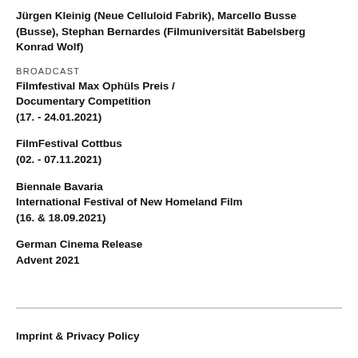Jürgen Kleinig (Neue Celluloid Fabrik), Marcello Busse (Busse), Stephan Bernardes (Filmuniversität Babelsberg Konrad Wolf)
BROADCAST
Filmfestival Max Ophüls Preis / Documentary Competition (17. - 24.01.2021)
FilmFestival Cottbus (02. - 07.11.2021)
Biennale Bavaria International Festival of New Homeland Film (16. & 18.09.2021)
German Cinema Release Advent 2021
Imprint & Privacy Policy